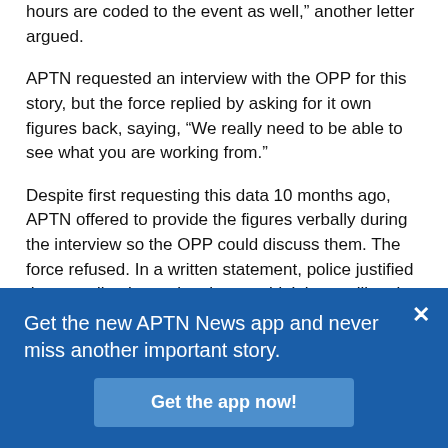hours are coded to the event as well,” another letter argued.
APTN requested an interview with the OPP for this story, but the force replied by asking for it own figures back, saying, “We really need to be able to see what you are working from.”
Despite first requesting this data 10 months ago, APTN offered to provide the figures verbally during the interview so the OPP could discuss them. The force refused. In a written statement, police justified the spending by saying they couldn’t ignore illegal activity or the potential for violence.
“We follow a measured approached, as laid out in
Get the new APTN News app and never miss another important story.
Get the app now!